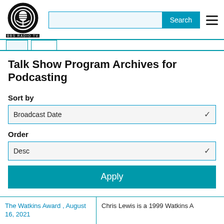[Figure (logo): BBS Radio TV logo: a circular badge with a microphone/speaker icon and concentric arcs, with text BBS RADIO TV below]
Talk Show Program Archives for Podcasting
Sort by
Broadcast Date
Order
Desc
Apply
The Watkins Award , August 16, 2021
Chris Lewis is a 1999 Watkins A